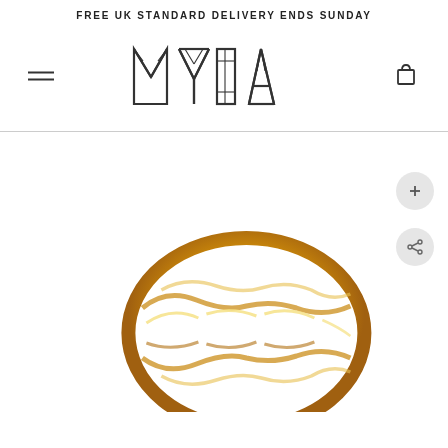FREE UK STANDARD DELIVERY ENDS SUNDAY
[Figure (logo): MYIA brand logo with geometric diamond-facet letterforms in outline style]
[Figure (photo): Close-up product photo of a gold twisted rope band ring on white background, with zoom (+) and share buttons on the right side]